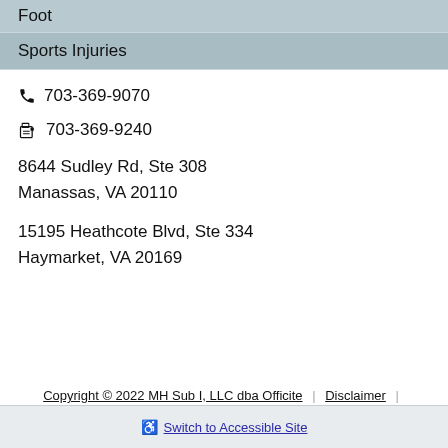Foot
Sports Injuries
703-369-9070
703-369-9240
8644 Sudley Rd, Ste 308
Manassas, VA 20110
15195 Heathcote Blvd, Ste 334
Haymarket, VA 20169
Copyright © 2022 MH Sub I, LLC dba Officite | Disclaimer |
Switch to Accessible Site